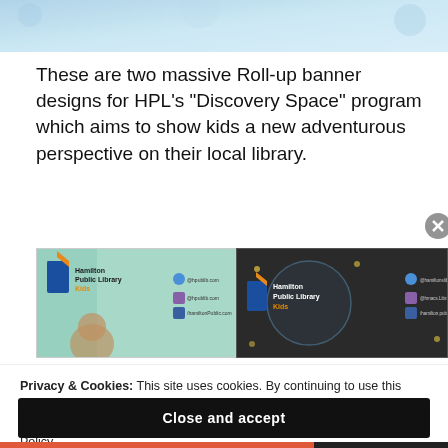[Figure (photo): Top banner with winter/icy texture background showing text DECEMBER • JANUARY • FEBRUARY]
These are two massive Roll-up banner designs for HPL's “Discovery Space” program which aims to show kids a new adventurous perspective on their local library.
[Figure (photo): Two Hamilton Public Library Kids roll-up banner designs side by side: one light teal background and one dark background, each showing logo, Kids branding, and social media handles]
Privacy & Cookies: This site uses cookies. By continuing to use this website, you agree to their use.
To find out more, including how to control cookies, see here: Cookie Policy
Close and accept